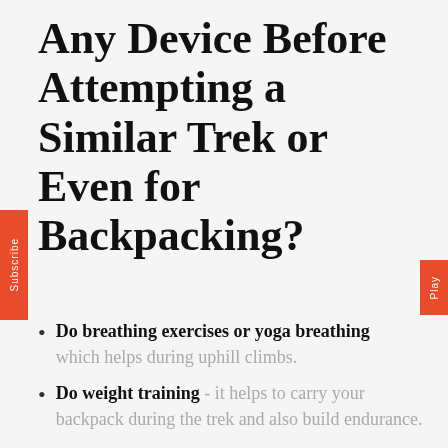Any Device Before Attempting a Similar Trek or Even for Backpacking?
Do breathing exercises or yoga breathing which helps during uphill climbs.
Do weight training - it helps to carry your backpack during the trek and also build endurance.